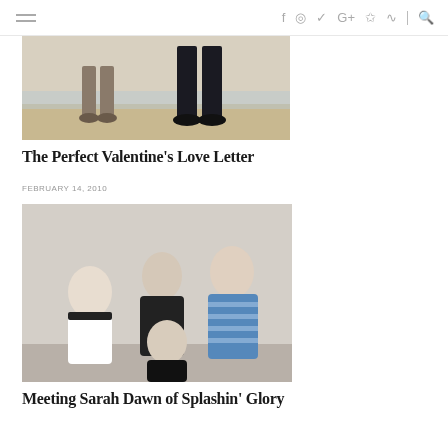≡  f  ◎  𝘵  G+  𝗉  ⌂  |  🔍
[Figure (photo): Beach scene showing two pairs of legs/feet standing on sandy beach near water — one person in shorts and sandals, one in dark pants.]
The Perfect Valentine's Love Letter
FEBRUARY 14, 2010
[Figure (photo): Family photo showing a woman in black shirt with two young boys and a man in a blue and white striped polo shirt, all smiling indoors.]
Meeting Sarah Dawn of Splashin' Glory